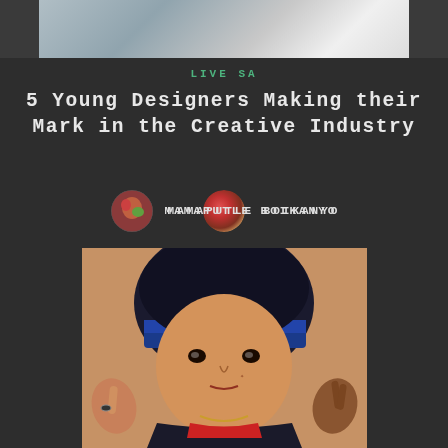[Figure (photo): Partial photo at top of page, appears to show people, cropped]
LIVE SA
5 Young Designers Making their Mark in the Creative Industry
[Figure (photo): Circular avatar/profile photo of author Mamaputle Boikanyo]
MAMAPUTLE BOIKANYO
[Figure (photo): Photo of a young person with blue hair accessory/bandana, making hand gestures, wearing a dark jacket with red collar]